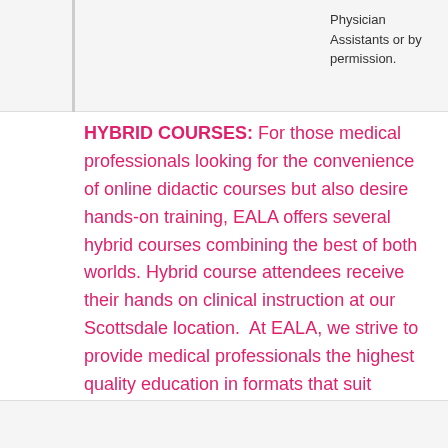Physician Assistants or by permission.
HYBRID COURSES: For those medical professionals looking for the convenience of online didactic courses but also desire hands-on training, EALA offers several hybrid courses combining the best of both worlds. Hybrid course attendees receive their hands on clinical instruction at our Scottsdale location.  At EALA, we strive to provide medical professionals the highest quality education in formats that suit individual needs and preferences.
88 Hour Hybrid
Esthetic Advisor Laser Academy (EALA)